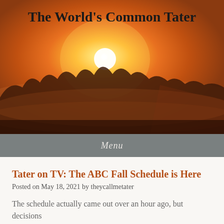[Figure (photo): Sunset or sunrise landscape with a bright glowing sun near the horizon, silhouetted trees and mist-covered waterfall or landscape in warm orange and pink tones]
The World's Common Tater
Menu
Tater on TV: The ABC Fall Schedule is Here
Posted on May 18, 2021 by theycallmetater
The schedule actually came out over an hour ago, but decisions